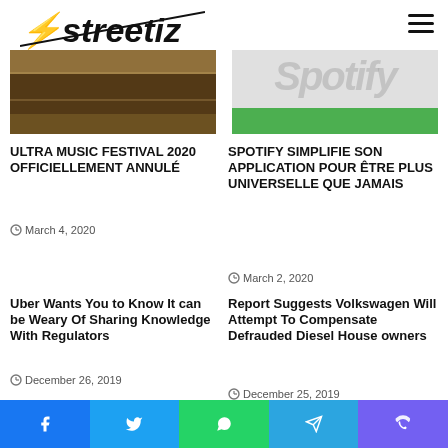Streetiz
[Figure (photo): Festival crowd photo (Ultra Music Festival)]
[Figure (photo): Spotify app screenshot with green bar]
ULTRA MUSIC FESTIVAL 2020 OFFICIELLEMENT ANNULÉ
March 4, 2020
SPOTIFY SIMPLIFIE SON APPLICATION POUR ÊTRE PLUS UNIVERSELLE QUE JAMAIS
March 2, 2020
Uber Wants You to Know It can be Weary Of Sharing Knowledge With Regulators
December 26, 2019
Report Suggests Volkswagen Will Attempt To Compensate Defrauded Diesel House owners
December 25, 2019
Leave a Reply